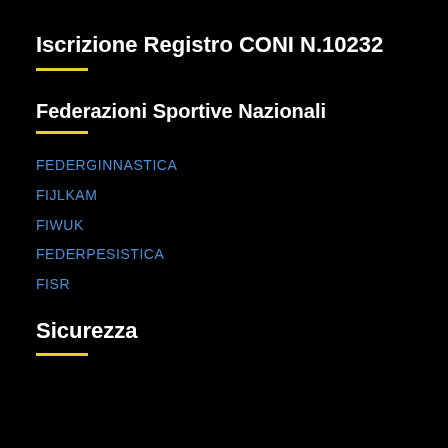Iscrizione Registro CONI N.10232
Federazioni Sportive Nazionali
FEDERGINNASTICA
FIJLKAM
FIWUK
FEDERPESISTICA
FISR
Sicurezza